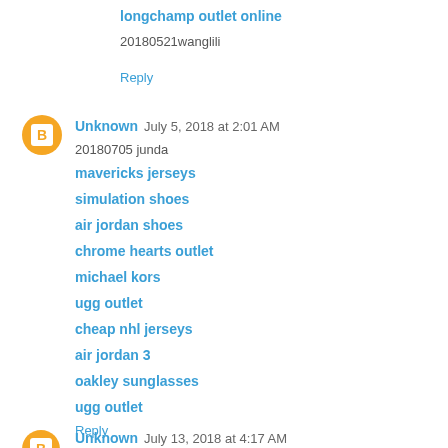longchamp outlet online
20180521wanglili
Reply
Unknown  July 5, 2018 at 2:01 AM
20180705 junda
mavericks jerseys
simulation shoes
air jordan shoes
chrome hearts outlet
michael kors
ugg outlet
cheap nhl jerseys
air jordan 3
oakley sunglasses
ugg outlet
Reply
Unknown  July 13, 2018 at 4:17 AM